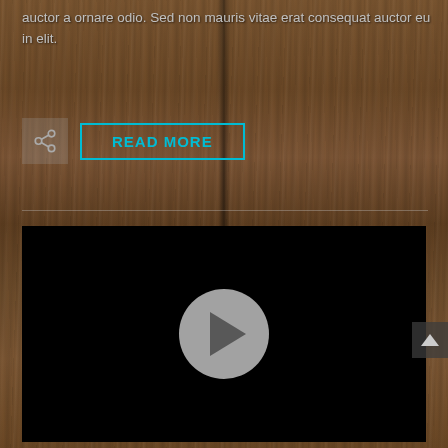auctor a ornare odio. Sed non mauris vitae erat consequat auctor eu in elit.
[Figure (other): Share button (icon with arrow/share symbol) and READ MORE button with cyan border, on a dark wood-textured background]
[Figure (other): Black video player with a large circular grey play button in the center]